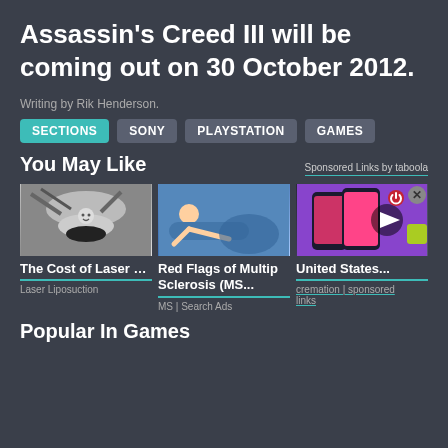Assassin's Creed III will be coming out on 30 October 2012.
Writing by Rik Henderson.
SECTIONS
SONY
PLAYSTATION
GAMES
You May Like
Sponsored Links by taboola
[Figure (photo): Person lying in laser liposuction machine]
The Cost of Laser Liposuction i...
Laser Liposuction
[Figure (illustration): Illustration of person lying down with MS symptoms]
Red Flags of Multiple Sclerosis (MS...
MS | Search Ads
[Figure (photo): Video overlay with phones and play button]
United States...
cremation | sponsored links
Popular In Games